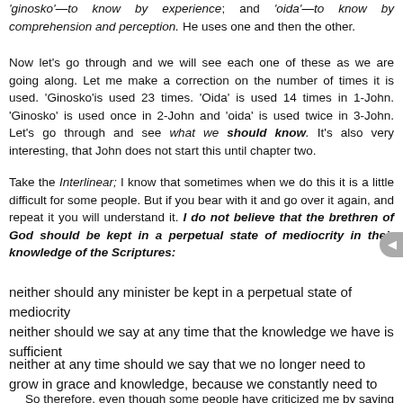'ginosko'—to know by experience; and 'oida'—to know by comprehension and perception. He uses one and then the other.
Now let's go through and we will see each one of these as we are going along. Let me make a correction on the number of times it is used. 'Ginosko'is used 23 times. 'Oida' is used 14 times in 1-John. 'Ginosko' is used once in 2-John and 'oida' is used twice in 3-John. Let's go through and see what we should know. It's also very interesting, that John does not start this until chapter two.
Take the Interlinear; I know that sometimes when we do this it is a little difficult for some people. But if you bear with it and go over it again, and repeat it you will understand it. I do not believe that the brethren of God should be kept in a perpetual state of mediocrity in their knowledge of the Scriptures:
neither should any minister be kept in a perpetual state of mediocrity
neither should we say at any time that the knowledge we have is sufficient
neither at any time should we say that we no longer need to grow in grace and knowledge, because we constantly need to
So therefore, even though some people have criticized me by saying that I go to the original language too much, I'm sorry to tell